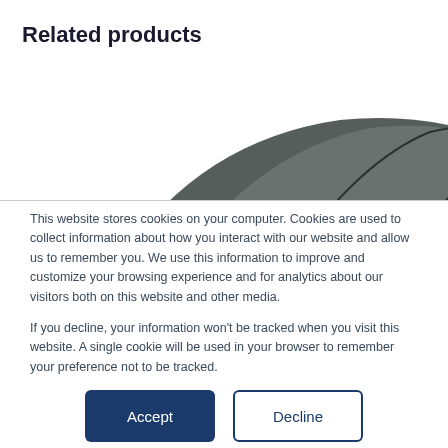Related products
[Figure (photo): Close-up photo of a dark gray computer mouse (Arc Touch style) against a white background, showing its curved and folded form.]
This website stores cookies on your computer. Cookies are used to collect information about how you interact with our website and allow us to remember you. We use this information to improve and customize your browsing experience and for analytics about our visitors both on this website and other media.

If you decline, your information won't be tracked when you visit this website. A single cookie will be used in your browser to remember your preference not to be tracked.
Accept
Decline